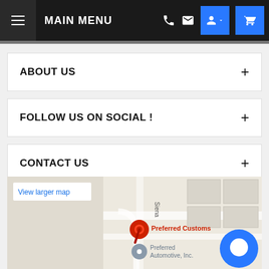MAIN MENU
ABOUT US
FOLLOW US ON SOCIAL !
CONTACT US
[Figure (map): Google Maps embed showing location of Preferred Customs and Preferred Automotive, Inc. with a red pin marker and a grey location marker. Includes a 'View larger map' button and a Siena street label.]